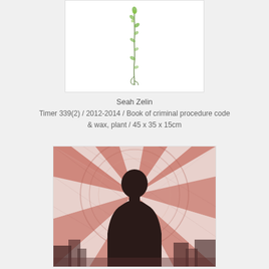[Figure (photo): A delicate plant stem with small green leaves and buds against a white background, shown in a white-bordered frame.]
Seah Zelin
Timer 339(2) / 2012-2014 / Book of criminal procedure code & wax, plant / 45 x 35 x 15cm
[Figure (photo): A mixed-media artwork showing a dark silhouetted figure from behind against a radial pattern of alternating red/pink and white/light rays, with a textured urban landscape visible in the lower portion.]